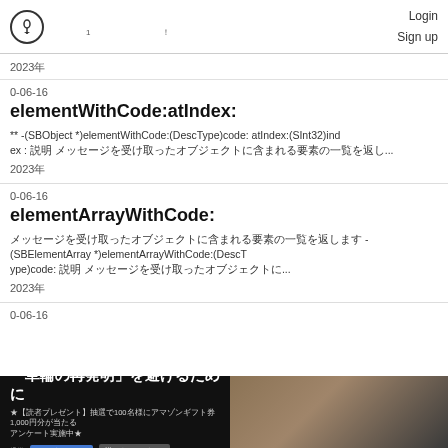Login  Sign up
2023年
0-06-16
elementWithCode:atIndex:
** -(SBObject *)elementWithCode:(DescType)code: atIndex:(SInt32)index : 説明 メッセージを受け取ったオブジェクトに含まれる要素の一覧を返し...
2023年
0-06-16
elementArrayWithCode:
メッセージを受け取ったオブジェクトに含まれる要素の一覧を返します -(SBElementArray *)elementArrayWithCode:(DescType)code: 説明 メッセージを...
2023年
0-06-16
[Figure (other): Advertisement banner - '車輪の再発明'を避けるために with people photo and survey promotion]